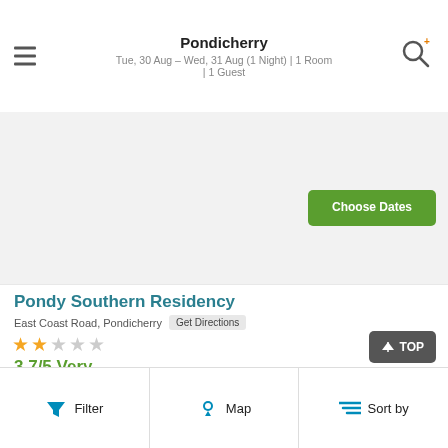Pondicherry
Tue, 30 Aug – Wed, 31 Aug (1 Night) | 1 Room | 1 Guest
[Figure (photo): Hotel image placeholder area (light gray)]
Pondy Southern Residency
East Coast Road, Pondicherry   Get Directions
★★☆☆☆
3.7/5 Very Good   (2284)
<b> Conveniently located, Ungal Vasantabhavan offers comfortable accommodation to its guests. </b><br>
Inclusions:
Filter   Map   Sort by